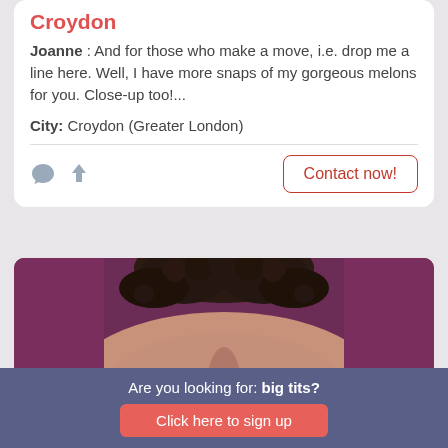Croydon
Joanne : And for those who make a move, i.e. drop me a line here. Well, I have more snaps of my gorgeous melons for you. Close-up too!...
City: Croydon (Greater London)
Contact now!
[Figure (photo): Close-up photo of a person with dark curly hair, wearing a purple/magenta top, showing décolletage area]
Are you looking for: big tits?
Click here to sign up